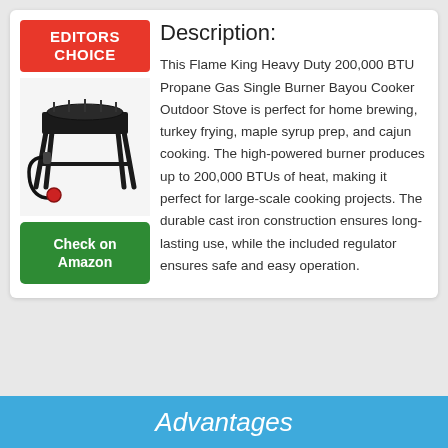[Figure (photo): EDITORS CHOICE badge (red background, white bold text)]
[Figure (photo): Product photo of Flame King Heavy Duty propane gas single burner bayou cooker outdoor stove on black metal stand with hose attachment]
Check on Amazon
Description:
This Flame King Heavy Duty 200,000 BTU Propane Gas Single Burner Bayou Cooker Outdoor Stove is perfect for home brewing, turkey frying, maple syrup prep, and cajun cooking. The high-powered burner produces up to 200,000 BTUs of heat, making it perfect for large-scale cooking projects. The durable cast iron construction ensures long-lasting use, while the included regulator ensures safe and easy operation.
Advantages